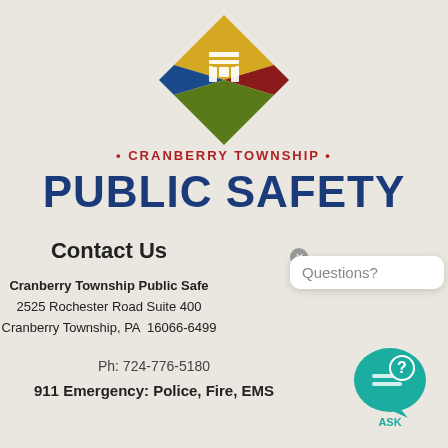[Figure (logo): Cranberry Township logo — a diamond shape divided into four colored quadrants (gold top, dark red right, blue bottom-left, green bottom-right) with a stylized white building/gate motif in the center]
• CRANBERRY TOWNSHIP •
PUBLIC SAFETY
Contact Us
Cranberry Township Public Safety
2525 Rochester Road Suite 400
Cranberry Township, PA  16066-6499
Ph: 724-776-5180
911 Emergency: Police, Fire, EMS
[Figure (infographic): Questions? popup bubble with a teal ASK icon (speech bubble with question mark)]